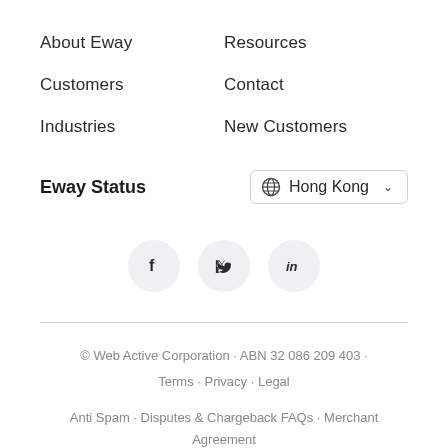About Eway
Resources
Customers
Contact
Industries
New Customers
Eway Status
Hong Kong
[Figure (other): Social media icons: Facebook, Twitter, LinkedIn]
© Web Active Corporation · ABN 32 086 209 403 · Terms · Privacy · Legal Anti Spam · Disputes & Chargeback FAQs · Merchant Agreement